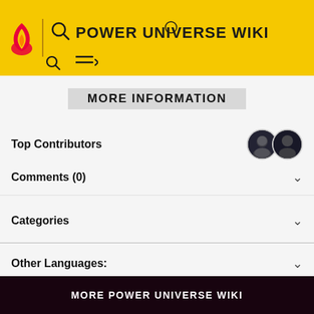POWER UNIVERSE WIKI
MORE INFORMATION
Top Contributors
Comments (0)
Categories
Other Languages:
Community content is available under CC-BY-SA unless otherwise noted.
MORE POWER UNIVERSE WIKI